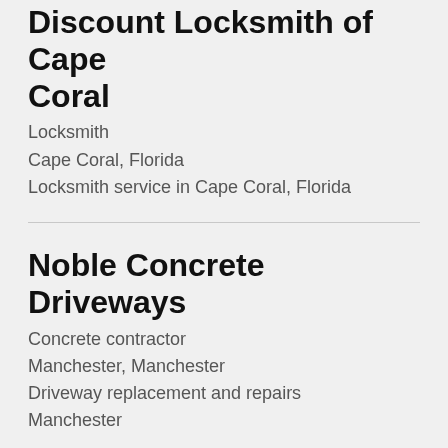Discount Locksmith of Cape Coral
Locksmith
Cape Coral, Florida
Locksmith service in Cape Coral, Florida
Noble Concrete Driveways
Concrete contractor
Manchester, Manchester
Driveway replacement and repairs Manchester
Sydney Surveyor Solutions
Land surveying office